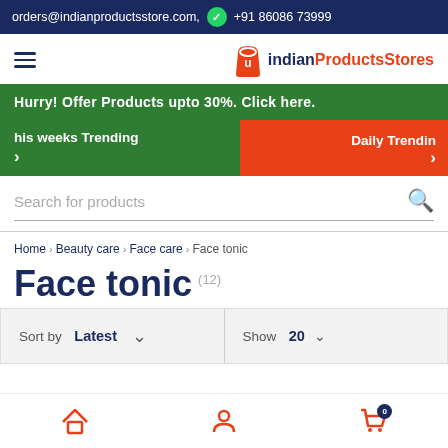orders@indianproductsstore.com,  +91 86086 73999
[Figure (logo): IndianProductsStores logo with shopping bag icon]
Hurry! Offer Products upto 30%. Click here.
his weeks Trending
Daily Trendin
Search for products
Home > Beauty care > Face care > Face tonic
Face tonic (12)
Sort by Latest   Show 20
Home | Account | Cart (0)